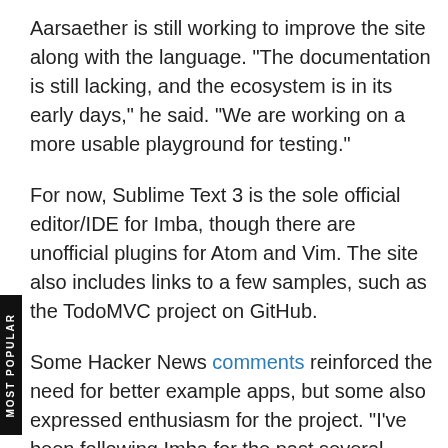Aarsaether is still working to improve the site along with the language. "The documentation is still lacking, and the ecosystem is in its early days," he said. "We are working on a more usable playground for testing."
For now, Sublime Text 3 is the sole official editor/IDE for Imba, though there are unofficial plugins for Atom and Vim. The site also includes links to a few samples, such as the TodoMVC project on GitHub.
Some Hacker News comments reinforced the need for better example apps, but some also expressed enthusiasm for the project. "I've been following Imba for the past several months since the initial announcement on HN," one commenter said. "I like the clean syntax, tags and high performance, so I hope you guys attract interest despite all the library/framework fatigue we're experiencing in front-end JS land. It's rather refreshing to be able to write code and view all together, like